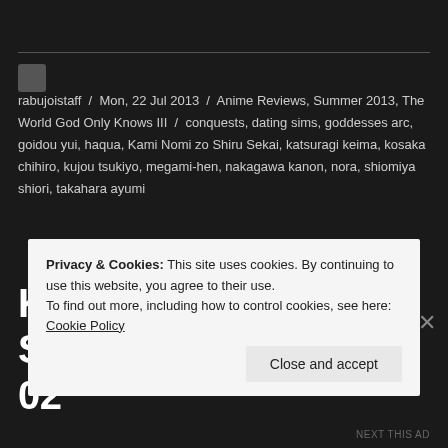rabujoisaff / Mon, 22 Jul 2013 / Anime Reviews, Summer 2013, The World God Only Knows III / conquests, dating sims, goddesses arc, goidou yui, haqua, Kami Nomi zo Shiru Sekai, katsuragi keima, kosaka chihiro, kujou tsukiyo, megami-hen, nakagawa kanon, nora, shiomiya shiori, takahara ayumi
Kami nomi zo Shiru Sekai: Megami-hen – 02
Privacy & Cookies: This site uses cookies. By continuing to use this website, you agree to their use.
To find out more, including how to control cookies, see here: Cookie Policy
Close and accept